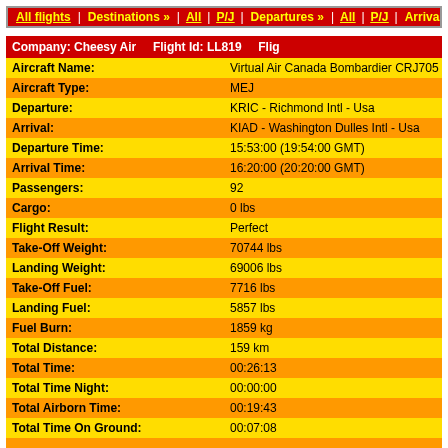All flights | Destinations » | All | P/J | Departures » | All | P/J | Arrivals » | All
| Field | Value |
| --- | --- |
| Company: Cheesy Air   Flight Id: LL819   Flig... |  |
| Aircraft Name: | Virtual Air Canada Bombardier CRJ705 (JAZ... |
| Aircraft Type: | MEJ |
| Departure: | KRIC - Richmond Intl - Usa |
| Arrival: | KIAD - Washington Dulles Intl - Usa |
| Departure Time: | 15:53:00 (19:54:00 GMT) |
| Arrival Time: | 16:20:00 (20:20:00 GMT) |
| Passengers: | 92 |
| Cargo: | 0 lbs |
| Flight Result: | Perfect |
| Take-Off Weight: | 70744 lbs |
| Landing Weight: | 69006 lbs |
| Take-Off Fuel: | 7716 lbs |
| Landing Fuel: | 5857 lbs |
| Fuel Burn: | 1859 kg |
| Total Distance: | 159 km |
| Total Time: | 00:26:13 |
| Total Time Night: | 00:00:00 |
| Total Airborn Time: | 00:19:43 |
| Total Time On Ground: | 00:07:08 |